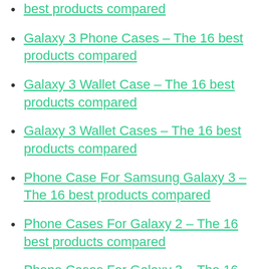best products compared
Galaxy 3 Phone Cases – The 16 best products compared
Galaxy 3 Wallet Case – The 16 best products compared
Galaxy 3 Wallet Cases – The 16 best products compared
Phone Case For Samsung Galaxy 3 – The 16 best products compared
Phone Cases For Galaxy 2 – The 16 best products compared
Phone Cases For Galaxy 3 – The 16 best products compared